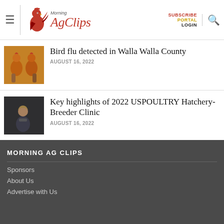Morning AgClips — SUBSCRIBE PORTAL LOGIN
Bird flu detected in Walla Walla County
AUGUST 16, 2022
Key highlights of 2022 USPOULTRY Hatchery-Breeder Clinic
AUGUST 16, 2022
MORNING AG CLIPS
Sponsors
About Us
Advertise with Us